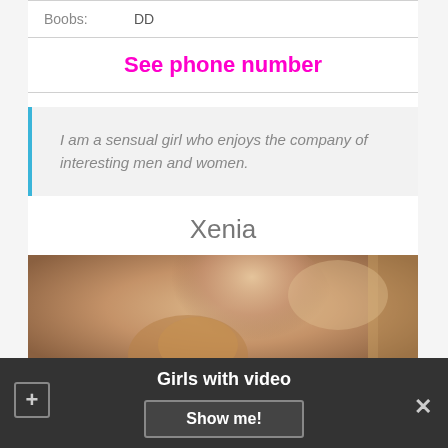| Boobs: | DD |
See phone number
I am a sensual girl who enjoys the company of interesting men and women.
Xenia
[Figure (photo): Woman viewed from behind in a bathroom mirror setting]
Girls with video
Show me!